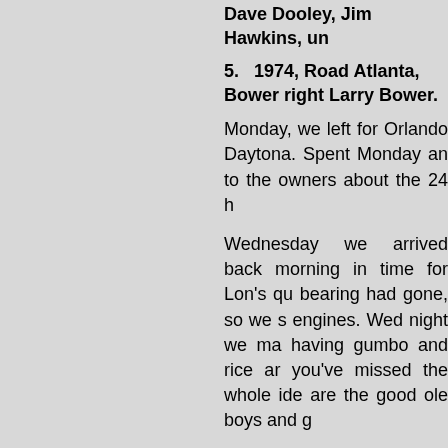Dave Dooley, Jim Hawkins, unc…
5.   1974, Road Atlanta, Bower… right Larry Bower.
Monday, we left for Orlando… Daytona. Spent Monday an… to the owners about the 24 h…
Wednesday we arrived back… morning in time for Lon's qu… bearing had gone, so we s… engines. Wed night we ma… having gumbo and rice ar… you've missed the whole ide… are the good ole boys and g…
Thursday: Qualifying for Lon… pack, no problems — we w… beer.
Watched Yeager, Max Herre… back to the swamp again fo… and Nancy Herrera's W… roast.. .had been invited b… this but this was the first tin… had made it, Enjoyed s… everyone. Some of the…